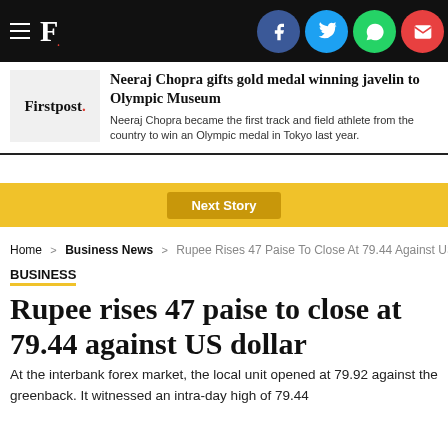Firstpost - F. [social icons: Facebook, Twitter, WhatsApp, Email]
[Figure (logo): Firstpost logo with red dot]
Neeraj Chopra gifts gold medal winning javelin to Olympic Museum
Neeraj Chopra became the first track and field athlete from the country to win an Olympic medal in Tokyo last year.
Next Story
Home > Business News > Rupee Rises 47 Paise To Close At 79.44 Against US
BUSINESS
Rupee rises 47 paise to close at 79.44 against US dollar
At the interbank forex market, the local unit opened at 79.92 against the greenback. It witnessed an intra-day high of 79.44